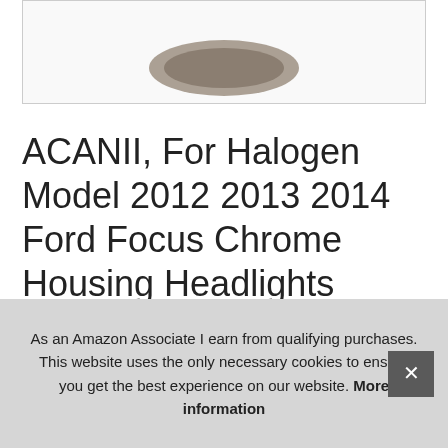[Figure (photo): Partial view of a product image (appears to be a car headlight assembly) shown cropped at top of page inside a bordered image box]
ACANII, For Halogen Model 2012 2013 2014 Ford Focus Chrome Housing Headlights Headlamps Assembly Driver & Passenge
#ad
[Figure (photo): Row of product thumbnail images partially visible, showing headlight assembly from different angles]
As an Amazon Associate I earn from qualifying purchases. This website uses the only necessary cookies to ensure you get the best experience on our website. More information